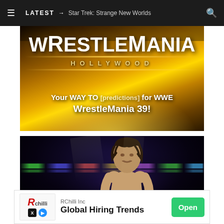≡  LATEST → Star Trek: Strange New Worlds  🔍
[Figure (photo): WrestleMania Hollywood promotional banner with gold film strip design. Text overlay reads 'Your WAY TO [predictions] for WWE WrestleMania 39!']
[Figure (photo): Professional wrestler (Kenny Omega) standing in an arena with colorful lights in the background]
RChilli Inc  Global Hiring Trends  Open